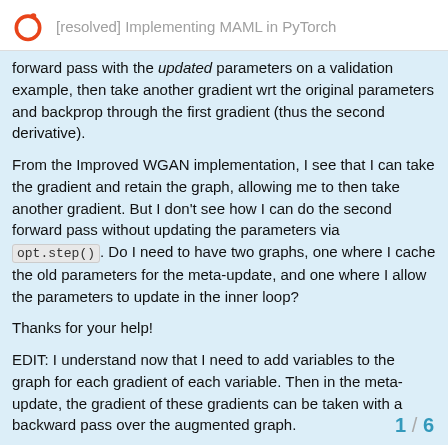[resolved] Implementing MAML in PyTorch
forward pass with the updated parameters on a validation example, then take another gradient wrt the original parameters and backprop through the first gradient (thus the second derivative).
From the Improved WGAN implementation, I see that I can take the gradient and retain the graph, allowing me to then take another gradient. But I don't see how I can do the second forward pass without updating the parameters via opt.step(). Do I need to have two graphs, one where I cache the old parameters for the meta-update, and one where I allow the parameters to update in the inner loop?
Thanks for your help!
EDIT: I understand now that I need to add variables to the graph for each gradient of each variable. Then in the meta-update, the gradient of these gradients can be taken with a backward pass over the augmented graph.
1 / 6